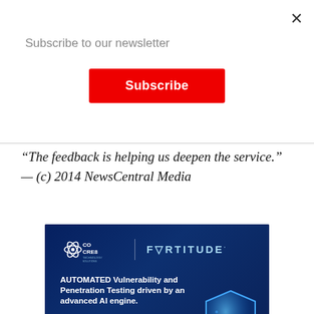×
Subscribe to our newsletter
Subscribe
“The feedback is helping us deepen the service.”  — (c) 2014 NewsCentral Media
[Figure (illustration): CoCre8 Fortitude advertisement banner on dark blue background. Shows CoCre8 logo and Fortitude brand name. Text: AUTOMATED Vulnerability and Penetration Testing driven by an advanced AI engine. Fortitude will test applications, networks, IOT devices, process, and API integrations to determine resiliency to withstand a cyber-attack. Shield graphic on right side.]